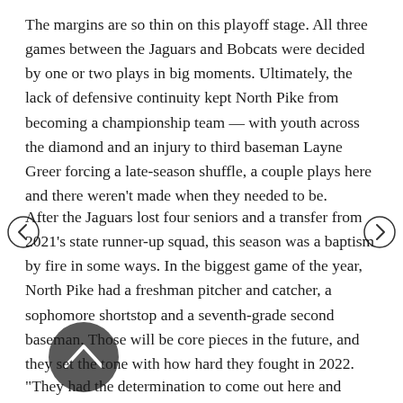The margins are so thin on this playoff stage. All three games between the Jaguars and Bobcats were decided by one or two plays in big moments. Ultimately, the lack of defensive continuity kept North Pike from becoming a championship team — with youth across the diamond and an injury to third baseman Layne Greer forcing a late-season shuffle, a couple plays here and there weren't made when they needed to be.
After the Jaguars lost four seniors and a transfer from 2021's state runner-up squad, this season was a baptism by fire in some ways. In the biggest game of the year, North Pike had a freshman pitcher and catcher, a sophomore shortstop and a seventh-grade second baseman. Those will be core pieces in the future, and they set the tone with how hard they fought in 2022.
“They had the determination to come out here and prove people wrong,” Wallace said. “I have great respect for this group